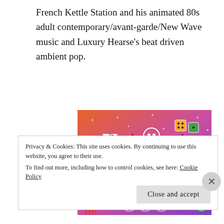French Kettle Station and his animated 80s adult contemporary/avant-garde/New Wave music and Luxury Hearse's beat driven ambient pop.
[Figure (illustration): Colorful illustrated banner image with gradient background from orange to purple, featuring the text 'FANDOM ON tumblr' with various cartoon doodles including a sailboat, skull, dice, octopus, and leaf character.]
Privacy & Cookies: This site uses cookies. By continuing to use this website, you agree to their use.
To find out more, including how to control cookies, see here: Cookie Policy
Close and accept